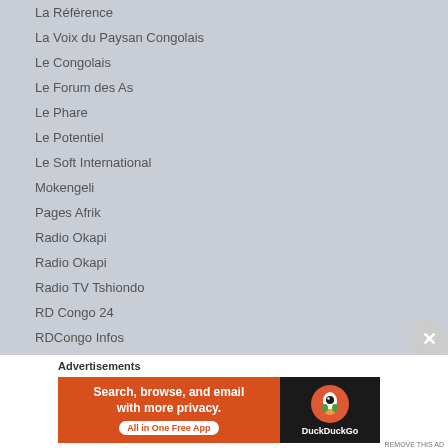La Référence
La Voix du Paysan Congolais
Le Congolais
Le Forum des As
Le Phare
Le Potentiel
Le Soft International
Mokengeli
Pages Afrik
Radio Okapi
Radio Okapi
Radio TV Tshiondo
RD Congo 24
RDCongo Infos
Sango ya Congo
Advertisements
[Figure (other): DuckDuckGo advertisement banner: Search, browse, and email with more privacy. All in One Free App]